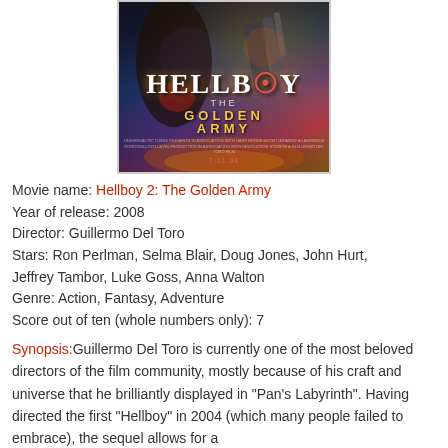[Figure (photo): Movie poster for Hellboy 2: The Golden Army showing the character holding a large weapon with dark fantasy background and golden/fire colors. Release date 7.11.08 shown at bottom.]
Movie name: Hellboy 2: The Golden Army
Year of release: 2008
Director: Guillermo Del Toro
Stars: Ron Perlman, Selma Blair, Doug Jones, John Hurt, Jeffrey Tambor, Luke Goss, Anna Walton
Genre: Action, Fantasy, Adventure
Score out of ten (whole numbers only): 7
Synopsis: Guillermo Del Toro is currently one of the most beloved directors of the film community, mostly because of his craft and universe that he brilliantly displayed in "Pan's Labyrinth". Having directed the first "Hellboy" in 2004 (which many people failed to embrace), the sequel allows for a